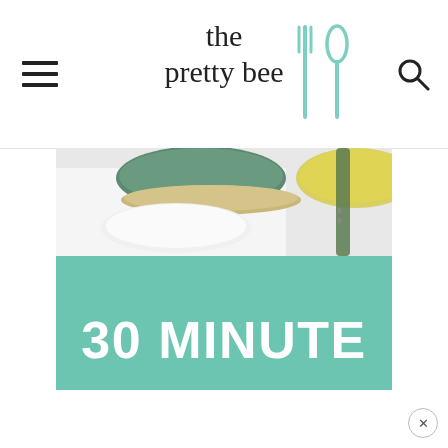the pretty bee
[Figure (photo): Top-down photo of colorful ceramic bowls and plates (green, yellow, white) with a green-handled spoon/utensil on a white surface]
30 MINUTE
5 INGREDIENT
turkey chili